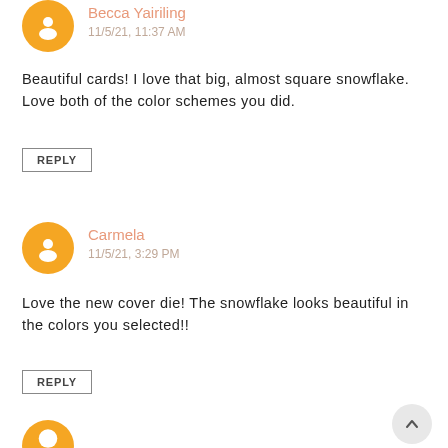Becca Yairiling
11/5/21, 11:37 AM
Beautiful cards! I love that big, almost square snowflake. Love both of the color schemes you did.
REPLY
Carmela
11/5/21, 3:29 PM
Love the new cover die! The snowflake looks beautiful in the colors you selected!!
REPLY
[Figure (illustration): Partial orange circular blogger avatar at bottom of page]